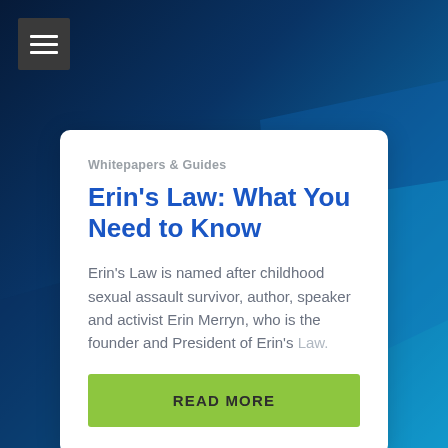[Figure (screenshot): Dark blue abstract background with navigation menu icon in top left corner]
Whitepapers & Guides
Erin's Law: What You Need to Know
Erin's Law is named after childhood sexual assault survivor, author, speaker and activist Erin Merryn, who is the founder and President of Erin's Law.
READ MORE